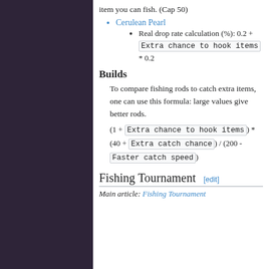item you can fish. (Cap 50)
Cerulean Pearl
Real drop rate calculation (%): 0.2 + Extra chance to hook items * 0.2
Builds
To compare fishing rods to catch extra items, one can use this formula: large values give better rods.
(1 + Extra chance to hook items) * (40 + Extra catch chance) / (200 - Faster catch speed)
Fishing Tournament [edit]
Main article: Fishing Tournament